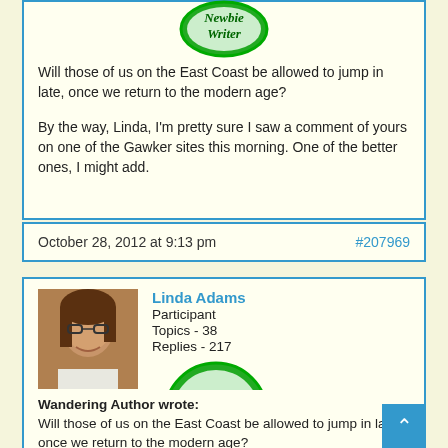[Figure (logo): Newbie Writer green circular badge (partially visible at top)]
Will those of us on the East Coast be allowed to jump in late, once we return to the modern age?
By the way, Linda, I'm pretty sure I saw a comment of yours on one of the Gawker sites this morning. One of the better ones, I might add.
October 28, 2012 at 9:13 pm
#207969
[Figure (photo): Profile photo of Linda Adams, a woman with glasses and brown hair]
Linda Adams
Participant
Topics - 38
Replies - 217
[Figure (logo): Newbie Writer green circular badge]
Wandering Author wrote:
Will those of us on the East Coast be allowed to jump in late, once we return to the modern age?